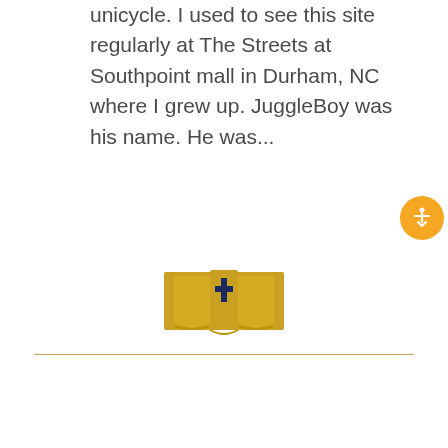unicycle. I used to see this site regularly at The Streets at Southpoint mall in Durham, NC where I grew up. JuggleBoy was his name. He was...
[Figure (logo): Carolina College of Biblical Studies logo: gold open book with cross on dark navy background, with horizontal gold lines flanking the book icon, and the college name in white serif text below.]